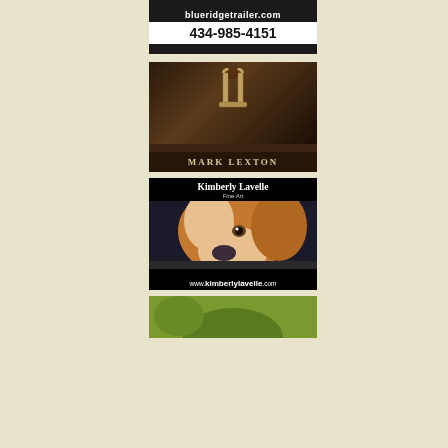[Figure (advertisement): Blue Ridge Trailer advertisement with dark background, showing website blueridgetrailer.com and phone number 434-985-4151]
[Figure (advertisement): Mark Lexton advertisement showing a horse stirrup on dark wood background with name MARK LEXTON in serif font]
[Figure (advertisement): Kimberly Lavelle Fine Art advertisement with black background, featuring a painting of a dog (beagle/hound), with website www.kimberlylavelle.com]
[Figure (advertisement): Partial green advertisement at bottom of page]